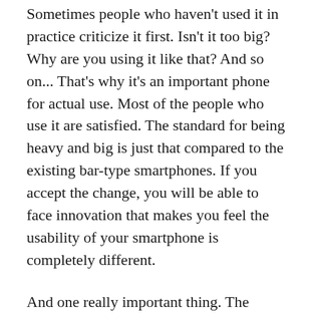Sometimes people who haven't used it in practice criticize it first. Isn't it too big? Why are you using it like that? And so on... That's why it's an important phone for actual use. Most of the people who use it are satisfied. The standard for being heavy and big is just that compared to the existing bar-type smartphones. If you accept the change, you will be able to face innovation that makes you feel the usability of your smartphone is completely different.
And one really important thing. The exterior screen (cover display) of the Galaxy Z Fold 2 and Fold 3 is in the 6-inch range. It's never small. The